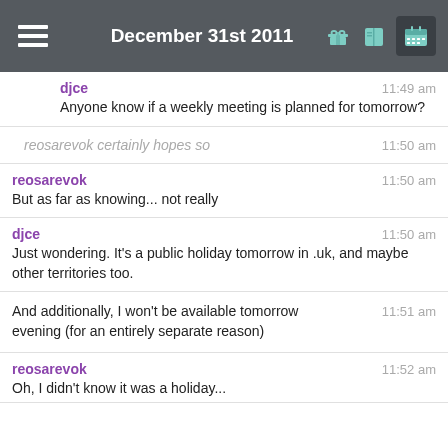December 31st 2011
djce  11:49 am
Anyone know if a weekly meeting is planned for tomorrow?
reosarevok certainly hopes so  11:50 am
reosarevok  11:50 am
But as far as knowing... not really
djce  11:50 am
Just wondering. It's a public holiday tomorrow in .uk, and maybe other territories too.
And additionally, I won't be available tomorrow evening (for an entirely separate reason)  11:51 am
reosarevok  11:52 am
Oh, I didn't know it was a holiday...